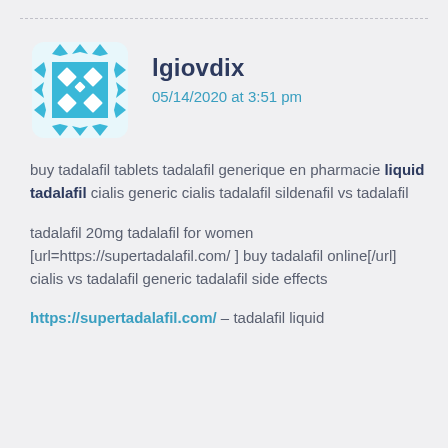[Figure (logo): Teal/cyan geometric avatar icon with diamond and arrow pattern]
lgiovdix
05/14/2020 at 3:51 pm
buy tadalafil tablets tadalafil generique en pharmacie liquid tadalafil cialis generic cialis tadalafil sildenafil vs tadalafil
tadalafil 20mg tadalafil for women [url=https://supertadalafil.com/ ] buy tadalafil online[/url] cialis vs tadalafil generic tadalafil side effects
https://supertadalafil.com/ – tadalafil liquid